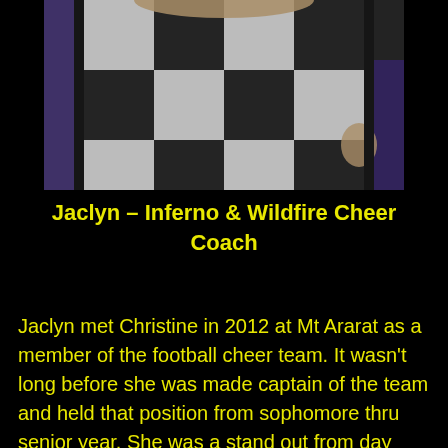[Figure (photo): Photo of a person wearing a black and white checkered/plaid fuzzy jacket, cropped at torso level, with purple background behind them.]
Jaclyn – Inferno & Wildfire Cheer Coach
Jaclyn met Christine in 2012 at Mt Ararat as a member of the football cheer team. It wasn't long before she was made captain of the team and held that position from sophomore thru senior year. She was a stand out from day one. Cheering was on her